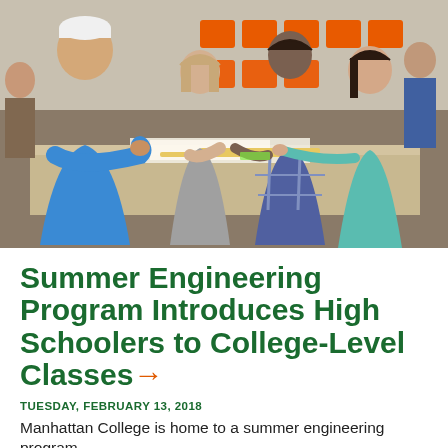[Figure (photo): Students and instructors working together around a table in a classroom setting with orange chairs in the background. A college student in a blue shirt and white cap works with younger high school students on a project.]
Summer Engineering Program Introduces High Schoolers to College-Level Classes →
TUESDAY, FEBRUARY 13, 2018
Manhattan College is home to a summer engineering program...